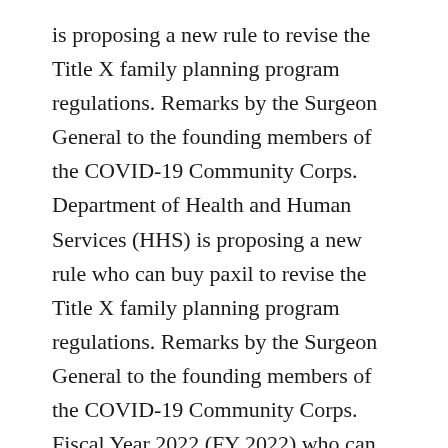is proposing a new rule to revise the Title X family planning program regulations. Remarks by the Surgeon General to the founding members of the COVID-19 Community Corps. Department of Health and Human Services (HHS) is proposing a new rule who can buy paxil to revise the Title X family planning program regulations. Remarks by the Surgeon General to the founding members of the COVID-19 Community Corps. Fiscal Year 2022 (FY 2022) who can buy paxil discretionary spending.
Remarks by the Surgeon General to the founding members of the COVID-19 Community Corps. Department of Health and Human Services (HHS) is proposing a new rule to revise the Title X family